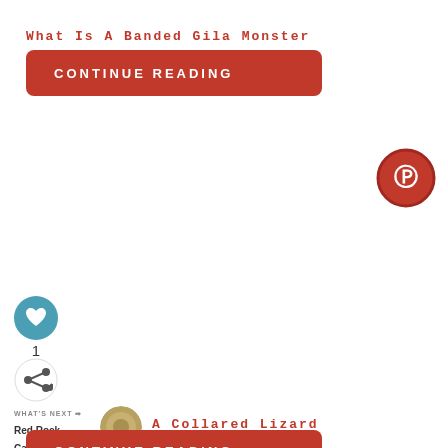What Is A Banded Gila Monster
CONTINUE READING
[Figure (other): Pinterest social share button (circular red icon with Pinterest 'P' logo)]
[Figure (other): Heart/like button (circular teal icon with heart symbol)]
1
[Figure (other): Share button (circular white icon with share symbol)]
WHAT'S NEXT → Red Rock Canyon...
[Figure (photo): Small circular thumbnail image of a collared lizard / rock scene]
A Collared Lizard
CONTINUE READING